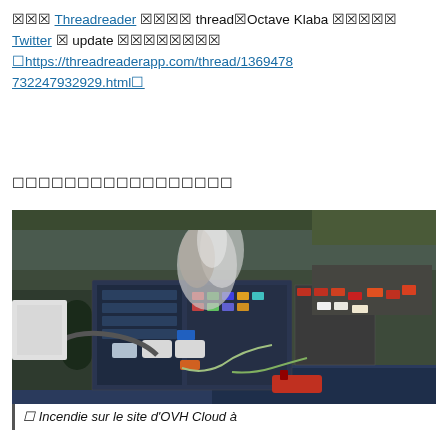🔲🔲🔲 Threadreader 🔲🔲🔲🔲 thread🔲Octave Klaba 🔲🔲🔲🔲🔲 Twitter 🔲 update 🔲🔲🔲🔲🔲🔲🔲🔲 🔲https://threadreaderapp.com/thread/1369478732247932929.html🔲
🔲🔲🔲🔲🔲🔲🔲🔲🔲🔲🔲🔲🔲🔲🔲🔲🔲
[Figure (photo): Aerial drone photograph of OVH Cloud data center on fire in Strasbourg, showing smoke rising from the burning building, emergency vehicles surrounding the site, and a waterway in the foreground.]
🔲 Incendie sur le site d'OVH Cloud à Strasbourg...